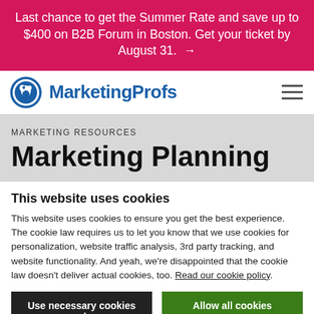Last chance to get the Summer Rate and save up to $400 on B2B Forum in Boston. Get your ticket by August 31. →
[Figure (logo): MarketingProfs logo: blue circle with bird icon and 'MarketingProfs' text in blue]
MARKETING RESOURCES
Marketing Planning
This website uses cookies
This website uses cookies to ensure you get the best experience. The cookie law requires us to let you know that we use cookies for personalization, website traffic analysis, 3rd party tracking, and website functionality. And yeah, we're disappointed that the cookie law doesn't deliver actual cookies, too. Read our cookie policy.
Use necessary cookies only | Allow all cookies
Show details